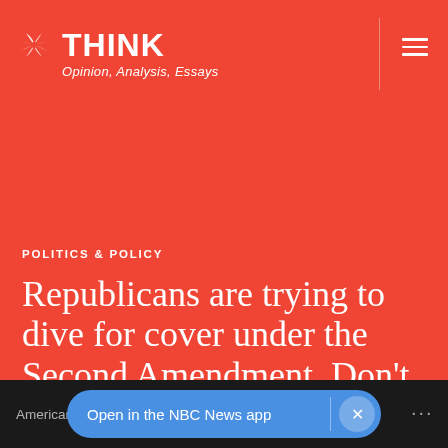NBC THINK — Opinion, Analysis, Essays
POLITICS & POLICY
Republicans are trying to dive for cover under the Second Amendment. Don't let them.
Like virtually every right and prohibition in the Constitution, the right to keep and bear arms is subject to legislation that defines and regulates its application.
American... ere | Open in the NBC News app